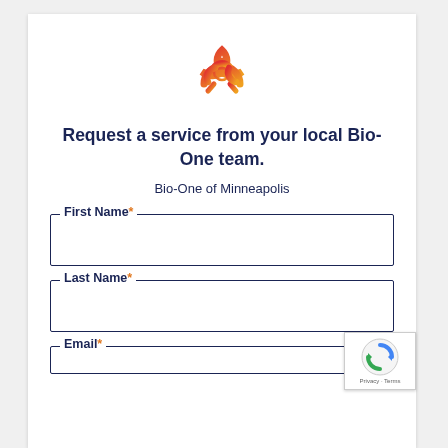[Figure (logo): Biohazard symbol logo with red-to-orange gradient]
Request a service from your local Bio-One team.
Bio-One of Minneapolis
First Name*
Last Name*
Email*